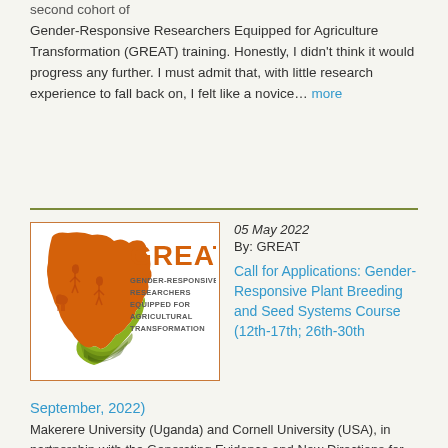...second cohort of Gender-Responsive Researchers Equipped for Agriculture Transformation (GREAT) training. Honestly, I didn't think it would progress any further. I must admit that, with little research experience to fall back on, I felt like a novice… more
[Figure (logo): GREAT - Gender-Responsive Researchers Equipped for Agricultural Transformation logo with Africa map silhouette in orange and green stripes]
05 May 2022
By: GREAT
Call for Applications: Gender-Responsive Plant Breeding and Seed Systems Course (12th-17th; 26th-30th September, 2022)
Makerere University (Uganda) and Cornell University (USA), in partnership with the Generating Evidence and New Directions for Equitable Results (GENDER Platform) arm of One CGIAR, have designed a Gender-Responsive Plant breeding and seed systems course targeting interdisciplinary teams of… more